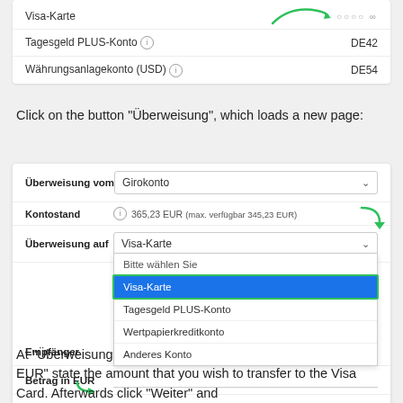[Figure (screenshot): Bank account selection list showing Visa-Karte (with green curved arrow and dots), Tagesgeld PLUS-Konto with DE42, and Währungsanlagekonto (USD) with DE54]
Click on the button "Überweisung", which loads a new page:
[Figure (screenshot): Bank transfer form showing: Überweisung vom: Girokonto dropdown, Kontostand with 365,23 EUR (max. verfügbar 345,23 EUR) and green arrow, Überweisung auf: Visa-Karte dropdown with open menu showing Bitte wählen Sie, Visa-Karte (selected/highlighted in blue with green ring), Tagesgeld PLUS-Konto, Wertpapierkreditkonto, Anderes Konto, Empfänger field, Betrag in EUR field with green arrow, Verwendungszweck: 4263540XXXXX4108 Ueberweisung von Girokonto auf Visa-Karte]
At "Überweisung auf" select the Visa Card, and at "Betrag in EUR" state the amount that you wish to transfer to the Visa Card. Afterwards click "Weiter" and